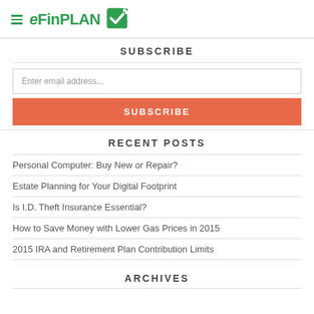eFinPLAN
SUBSCRIBE
Enter email address...
SUBSCRIBE
RECENT POSTS
Personal Computer: Buy New or Repair?
Estate Planning for Your Digital Footprint
Is I.D. Theft Insurance Essential?
How to Save Money with Lower Gas Prices in 2015
2015 IRA and Retirement Plan Contribution Limits
ARCHIVES